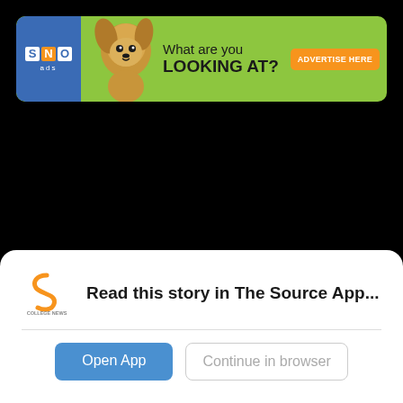[Figure (illustration): SNO ads banner advertisement with chihuahua dog photo, green background, text 'What are you LOOKING AT?' and orange 'ADVERTISE HERE' button]
[Figure (photo): Large black background area representing a video or dark content area]
Read this story in The Source App...
Open App
Continue in browser